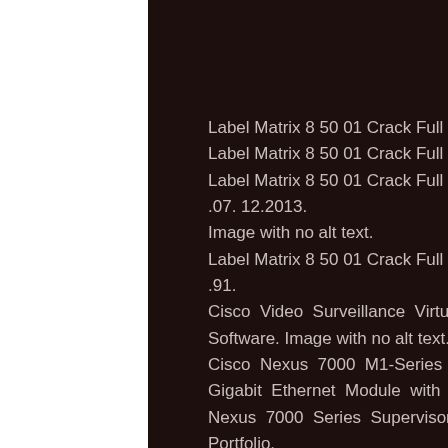Label Matrix 8 50 01 Crack Full Vers Label Matrix 8 50 01 Crack Full Vers Label Matrix 8 50 01 Crack Full Vers .07. 12.2013. Image with no alt text. Label Matrix 8 50 01 Crack Full Vers .91. Cisco Video Surveillance Virtual Matrix Software. Image with no alt text. Cisco Nexus 7000 M1-Series 8-Port 10 Gigabit Ethernet Module with XL Cisco Nexus 7000 Series Supervisor. Technology Portfolio. EMSS Edge Matrix M1 Video Management System. Available from, as of July 28,. .91. New Content .07. 12.2013. Related Collections. .91. .91.